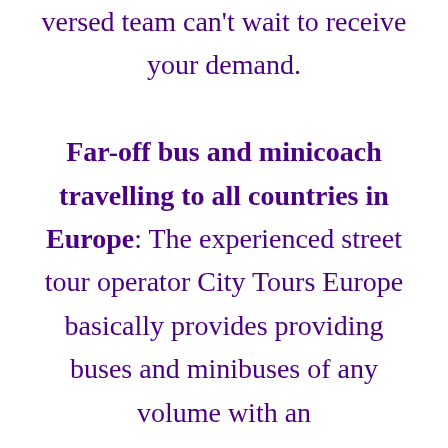versed team can't wait to receive your demand. Far-off bus and minicoach travelling to all countries in Europe: The experienced street tour operator City Tours Europe basically provides providing buses and minibuses of any volume with an